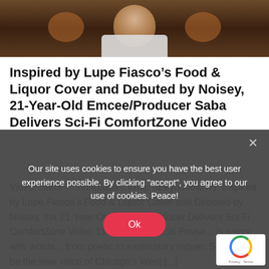[Figure (photo): Partial photo of a person sitting, wearing a white t-shirt, dark background with orange/brown tones]
Inspired by Lupe Fiasco’s Food & Liquor Cover and Debuted by Noisey, 21-Year-Old Emcee/Producer Saba Delivers Sci-Fi ComfortZone Video
Video: Saba – “TimeZone”/“Whip (areyoudown?)” Inspired by Lupe Fiasco’s Food & Liquor Cover and Debuted by Noisey, the 21-Year-Old Emcee/Producer Delivers Sci-Fi ComfortZone Video 11.12.2015 Critical Praise... is savvy with words... from poetic to exploratory rapper, Saba could be the new voice of Chicago’s West [...]
Our site uses cookies to ensure you have the best user experience possible. By clicking "accept", you agree to our use of cookies. Peace!